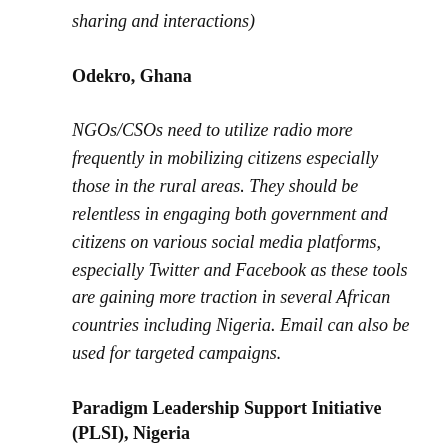sharing and interactions)
Odekro, Ghana
NGOs/CSOs need to utilize radio more frequently in mobilizing citizens especially those in the rural areas. They should be relentless in engaging both government and citizens on various social media platforms, especially Twitter and Facebook as these tools are gaining more traction in several African countries including Nigeria. Email can also be used for targeted campaigns.
Paradigm Leadership Support Initiative (PLSI), Nigeria